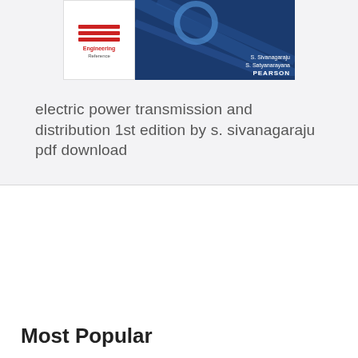[Figure (photo): Book cover for Electric Power Transmission and Distribution by S. Sivanagaraju and S. Satyanarayana, Pearson publication, with Engineering Reference logo on left and blue cover design on right]
electric power transmission and distribution 1st edition by s. sivanagaraju pdf download
Most Popular
[Figure (photo): Book cover thumbnail for Principles of Structural Analysis: Static and (text cut off), dark blue cover]
Principles of Structural Analysis: Static and